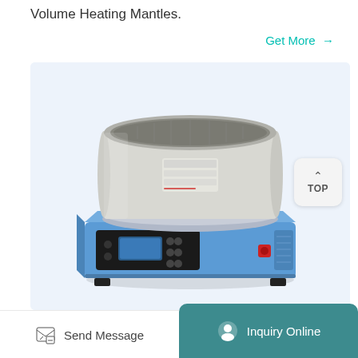Volume Heating Mantles.
Get More →
[Figure (photo): A laboratory heating mantle with a round cylindrical ceramic heating bowl (light grey/beige) sitting on top of a blue rectangular base unit. The base has a black digital control panel with display screen and buttons on the front, and a red power switch on the side. The device has four black rubber feet.]
Send Message
Inquiry Online